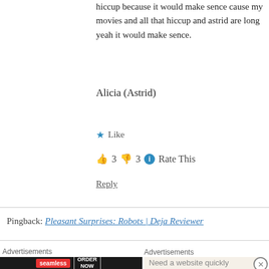hiccup because it would make sence cause my movies and all that hiccup and astrid are long yeah it would make sence.
Alicia (Astrid)
★ Like
👍 3 👎 3 ℹ Rate This
Reply
Pingback: Pleasant Surprises: Robots | Deja Reviewer
Advertisements
Need a website quickly
Advertisements
[Figure (photo): Seamless food delivery advertisement with pizza image, seamless red logo, and ORDER NOW button on dark background]